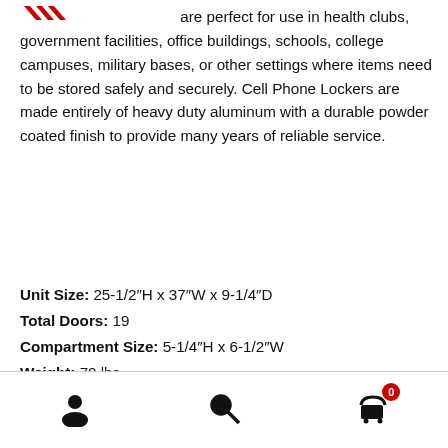[Figure (logo): Red logo/icon in top left corner]
are perfect for use in health clubs, government facilities, office buildings, schools, college campuses, military bases, or other settings where items need to be stored safely and securely. Cell Phone Lockers are made entirely of heavy duty aluminum with a durable powder coated finish to provide many years of reliable service.
Unit Size: 25-1/2"H x 37"W x 9-1/4"D
Total Doors: 19
Compartment Size: 5-1/4"H x 6-1/2"W
Weight: 70 lbs
Product Features:
[Figure (illustration): Footer navigation bar with user icon, search icon, and shopping cart icon with badge showing 0]